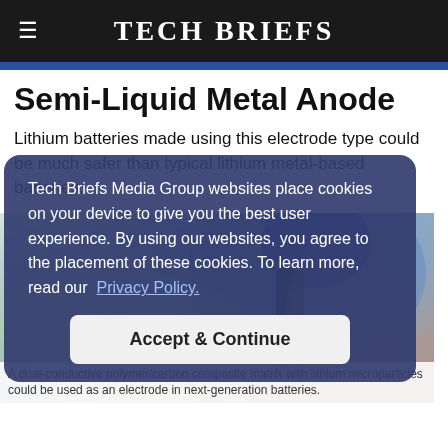TECH BRIEFS
Semi-Liquid Metal Anode
Lithium batteries made using this electrode type could be much safer than typical lithium metal-based batteries.
[Figure (photo): Photo of a gloved hand holding a battery or electrode component, shown from above with blurred background]
Tech Briefs Media Group websites place cookies on your device to give you the best user experience. By using our websites, you agree to the placement of these cookies. To learn more, read our Privacy Policy.
A dual-conductive polymer/carbon composite matrix with lithium microparticles could be used as an electrode in next-generation batteries.